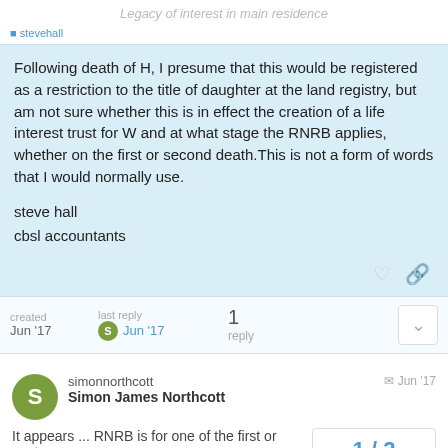Legacy of interest in main residence
Following death of H, I presume that this would be registered as a restriction to the title of daughter at the land registry, but am not sure whether this is in effect the creation of a life interest trust for W and at what stage the RNRB applies, whether on the first or second death.This is not a form of words that I would normally use.

steve hall
cbsl accountants
created Jun '17  last reply Jun '17  1 reply
simonnorthcott
Simon James Northcott
Jun '17
1 / 2